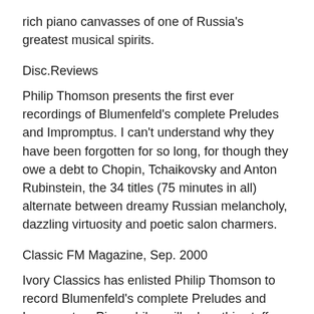rich piano canvasses of one of Russia's greatest musical spirits.
Disc.Reviews
Philip Thomson presents the first ever recordings of Blumenfeld's complete Preludes and Impromptus. I can't understand why they have been forgotten for so long, for though they owe a debt to Chopin, Tchaikovsky and Anton Rubinstein, the 34 titles (75 minutes in all) alternate between dreamy Russian melancholy, dazzling virtuosity and poetic salon charmers.
Classic FM Magazine, Sep. 2000
Ivory Classics has enlisted Philip Thomson to record Blumenfeld's complete Preludes and Impromptus. Pianophiles will adore this stuff. Blumenfeld's keyboard writing recalls (anticipates, actually) the swirling serpentine patterns favored by the young Scriabin and Rachmaninov,